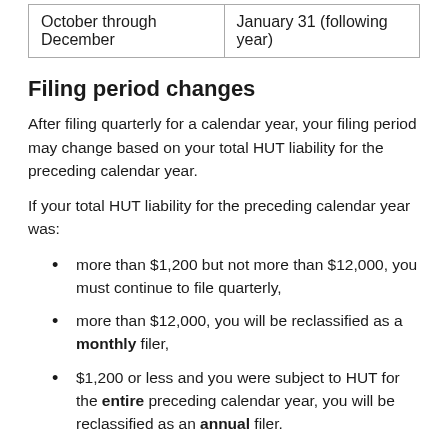| October through December | January 31 (following year) |
| --- | --- |
Filing period changes
After filing quarterly for a calendar year, your filing period may change based on your total HUT liability for the preceding calendar year.
If your total HUT liability for the preceding calendar year was:
more than $1,200 but not more than $12,000, you must continue to file quarterly,
more than $12,000, you will be reclassified as a monthly filer,
$1,200 or less and you were subject to HUT for the entire preceding calendar year, you will be reclassified as an annual filer.